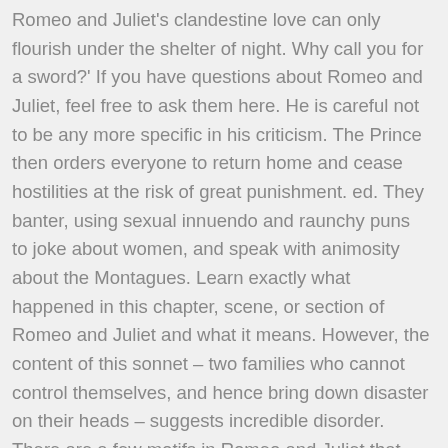Romeo and Juliet's clandestine love can only flourish under the shelter of night. Why call you for a sword?' If you have questions about Romeo and Juliet, feel free to ask them here. He is careful not to be any more specific in his criticism. The Prince then orders everyone to return home and cease hostilities at the risk of great punishment. ed. They banter, using sexual innuendo and raunchy puns to joke about women, and speak with animosity about the Montagues. Learn exactly what happened in this chapter, scene, or section of Romeo and Juliet and what it means. However, the content of this sonnet – two families who cannot control themselves, and hence bring down disaster on their heads – suggests incredible disorder. There are a few motifs in Romeo and Juliet that reveal this intention. Romeo and Juliet is all about fate, but when looked at from a realistic perspective, we understand that like everyone.... Romeo and Juliet made decisions. Though Romeo and Juliet is ostensibly a tragedy, it has endured as one of Shakespeare's most renowned masterpieces because of its magnificent blend of styles and remarkable, multi-faceted